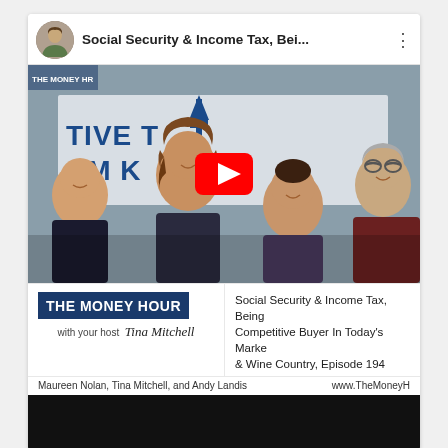[Figure (screenshot): YouTube video card showing 'Social Security & Income Tax, Bei...' with a group photo thumbnail of four people (Maureen Nolan, Tina Mitchell, Andy Landis, and one other) in front of a banner, with a red YouTube play button overlay. Below is 'THE MONEY HOUR with your host Tina Mitchell' logo on the left and episode description on the right, and a names/URL bar at the bottom.]